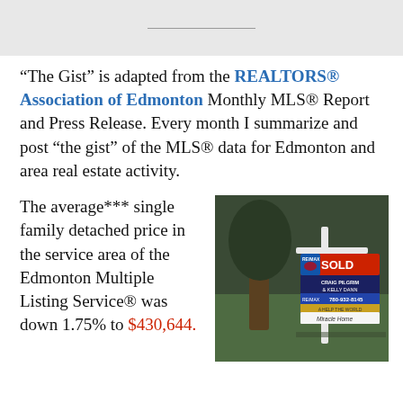“The Gist” is adapted from the REALTORS® Association of Edmonton Monthly MLS® Report and Press Release. Every month I summarize and post “the gist” of the MLS® data for Edmonton and area real estate activity.
The average*** single family detached price in the service area of the Edmonton Multiple Listing Service® was down 1.75% to $430,644.
[Figure (photo): Photo of a RE/MAX SOLD real estate sign in a yard with a tree, showing agent names Craig Pilgrim & Kelly Dann, phone 780-932-8145, and a Miracle Home placard. Background is green lawn and dark trees.]